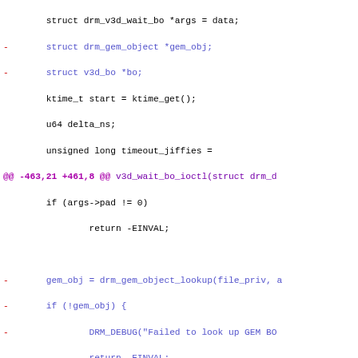Code diff showing changes to v3d_wait_bo_ioctl function, lines -463,21 +461,8 and -492,8 +477,6
[Figure (screenshot): Source code diff view showing removed lines (red, prefixed with -) and added lines (green, prefixed with +) in a monospace font on white background. The diff shows changes to drm/v3d driver code, replacing manual GEM object lookup and reservation_object_wait_timeout_rcu with drm_gem_reservation_object_wait.]